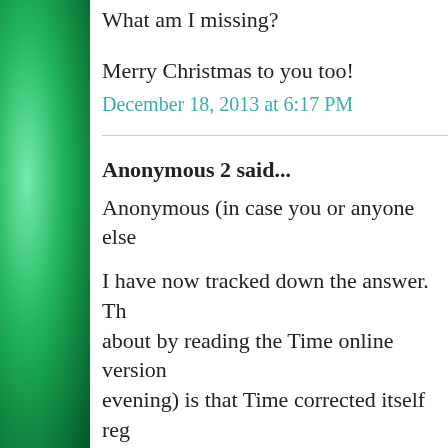What am I missing?
Merry Christmas to you too!
December 18, 2013 at 6:17 PM
Anonymous 2 said...
Anonymous (in case you or anyone else
I have now tracked down the answer. Th about by reading the Time online version evening) is that Time corrected itself reg dogma. Here is an explanation on Politic found:
http://...